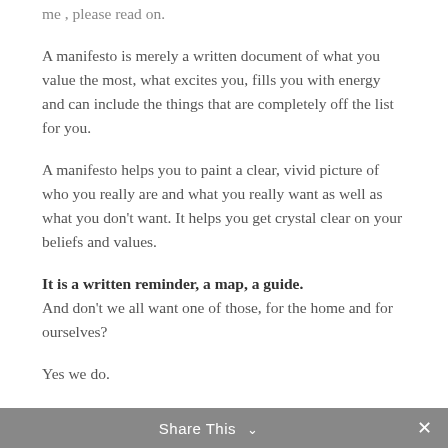me , please read on.
A manifesto is merely a written document of what you value the most, what excites you, fills you with energy and can include the things that are completely off the list for you.
A manifesto helps you to paint a clear, vivid picture of who you really are and what you really want as well as what you don't want. It helps you get crystal clear on your beliefs and values.
It is a written reminder, a map, a guide.
And don't we all want one of those, for the home and for ourselves?
Yes we do.
So today, I'll help you create a manifesto for your home and for your personal life.
Share This ∨  ✕